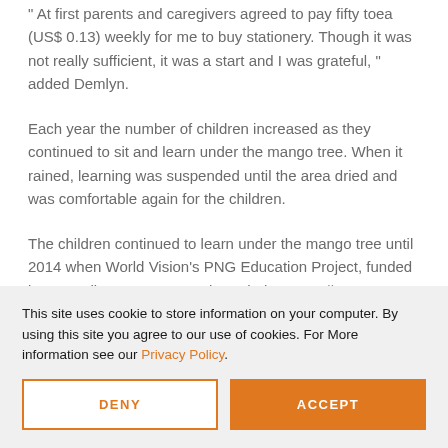"At first parents and caregivers agreed to pay fifty toea (US$0.13) weekly for me to buy stationery. Though it was not really sufficient, it was a start and I was grateful," added Demlyn.
Each year the number of children increased as they continued to sit and learn under the mango tree. When it rained, learning was suspended until the area dried and was comfortable again for the children.
The children continued to learn under the mango tree until 2014 when World Vision's PNG Education Project, funded by Australian Government through the Australian NGO Cooperation Program (ANCP)...
This site uses cookie to store information on your computer. By using this site you agree to our use of cookies. For More information see our Privacy Policy.